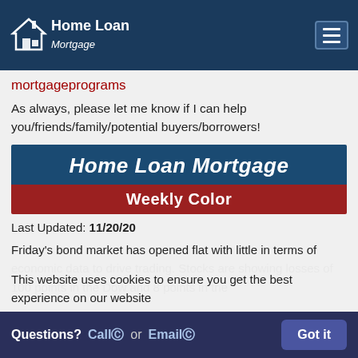Home Loan Mortgage
mortgageprograms
As always, please let me know if I can help you/friends/family/potential buyers/borrowers!
[Figure (logo): Home Loan Mortgage Weekly Color banner with dark blue background and red subtitle bar]
Last Updated: 11/20/20
Friday's bond market has opened flat with little in terms of economic data to drive trading. Stocks are showing losses of 100 points in the Dow and 8 points in the
This website uses cookies to ensure you get the best experience on our website
Questions? Call or Email  Got it